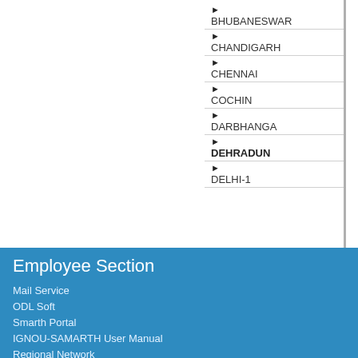▶ BHUBANESWAR
▶ CHANDIGARH
▶ CHENNAI
▶ COCHIN
▶ DARBHANGA
▶ DEHRADUN
▶ DELHI-1
Employee Section
Mail Service
ODL Soft
Smarth Portal
IGNOU-SAMARTH User Manual
Regional Network